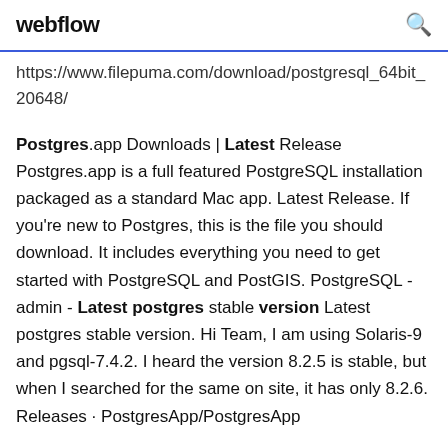webflow
https://www.filepuma.com/download/postgresql_64bit_20648/
Postgres.app Downloads | Latest Release Postgres.app is a full featured PostgreSQL installation packaged as a standard Mac app. Latest Release. If you're new to Postgres, this is the file you should download. It includes everything you need to get started with PostgreSQL and PostGIS. PostgreSQL - admin - Latest postgres stable version Latest postgres stable version. Hi Team, I am using Solaris-9 and pgsql-7.4.2. I heard the version 8.2.5 is stable, but when I searched for the same on site, it has only 8.2.6. Releases · PostgresApp/PostgresApp